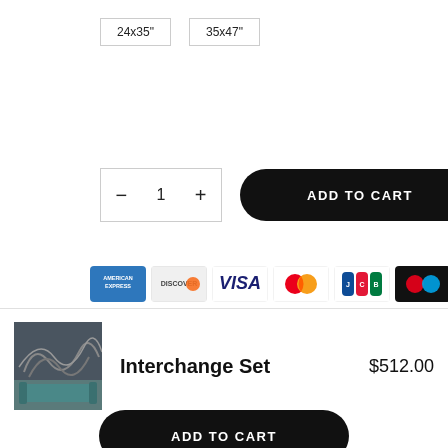24x35"
35x47"
− 1 +
ADD TO CART
[Figure (other): Payment method icons: American Express, Discover, Visa, Mastercard, JCB, Diners Club, another card]
[Figure (photo): Product thumbnail: abstract metal wall art set, Interchange Set, shown in a room with teal sofa]
Interchange Set
$512.00
ADD TO CART